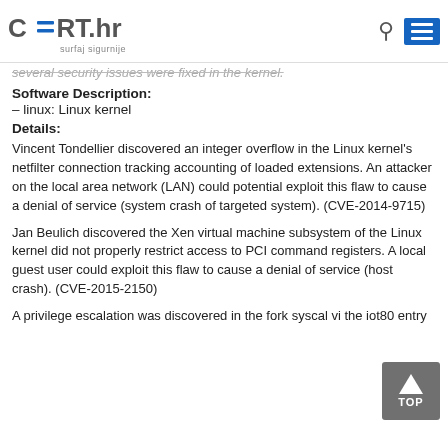CERT.hr - surfaj sigurnije
several security issues were fixed in the kernel.
Software Description:
– linux: Linux kernel
Details:
Vincent Tondellier discovered an integer overflow in the Linux kernel's netfilter connection tracking accounting of loaded extensions. An attacker on the local area network (LAN) could potential exploit this flaw to cause a denial of service (system crash of targeted system). (CVE-2014-9715)
Jan Beulich discovered the Xen virtual machine subsystem of the Linux kernel did not properly restrict access to PCI command registers. A local guest user could exploit this flaw to cause a denial of service (host crash). (CVE-2015-2150)
A privilege escalation was discovered in the fork syscal vi the iot80 entry